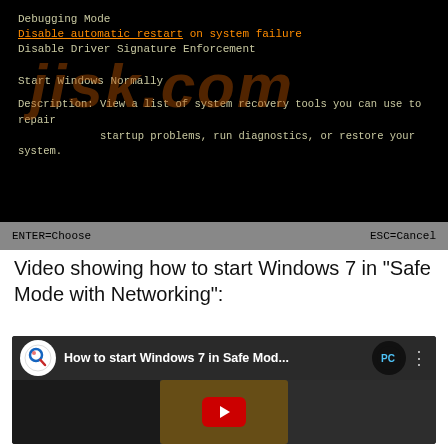[Figure (screenshot): Windows 7 boot menu/BIOS-style screen showing options: Debugging Mode, Disable automatic restart on system failure (highlighted in orange), Disable Driver Signature Enforcement, Start Windows Normally. Description text: 'View a list of system recovery tools you can use to repair startup problems, run diagnostics, or restore your system.' Bottom bar shows ENTER=Choose and ESC=Cancel. Background has a watermark logo.]
Video showing how to start Windows 7 in "Safe Mode with Networking":
[Figure (screenshot): YouTube video thumbnail embedded in page showing 'How to start Windows 7 in Safe Mod...' with a play button overlay, PC logo icon, and a preview of a web page about safe mode in the video content area.]